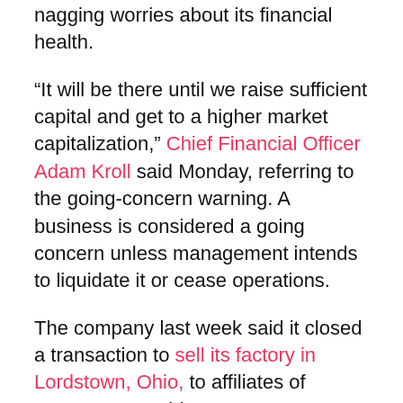nagging worries about its financial health.
“It will be there until we raise sufficient capital and get to a higher market capitalization,” Chief Financial Officer Adam Kroll said Monday, referring to the going-concern warning. A business is considered a going concern unless management intends to liquidate it or cease operations.
The company last week said it closed a transaction to sell its factory in Lordstown, Ohio, to affiliates of contract assembler
Foxconn Technology Group.
Lordstown received $230 million for the factory, formerly a General Motors Co. manufacturing site, and was reimbursed roughly $27 million in operating and expansion costs by Taipei-based